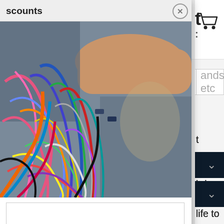[Figure (screenshot): Website background showing navigation bar with cart icon, search bar with placeholder text 'ands, etc', body text about signal processors and modular synths, and dark accordion bars at the bottom.]
[Figure (photo): Modal popup overlay showing a photo of colorful tangled patch cables and a person's arm working with modular synthesizer patch cables.]
scounts
t processors can bring new life to 're using modular synths, drum aptop, or acoustic instruments, e that could turn your entire roviding a new lens through which familiar of sounds transformed.
No Thanks